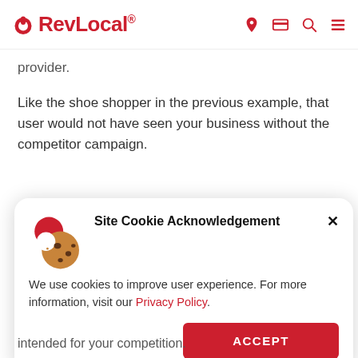RevLocal® [navigation icons]
provider.
Like the shoe shopper in the previous example, that user would not have seen your business without the competitor campaign.
[Figure (other): Site Cookie Acknowledgement popup with cookie icon, text 'We use cookies to improve user experience. For more information, visit our Privacy Policy.' and an ACCEPT button]
intended for your competition.